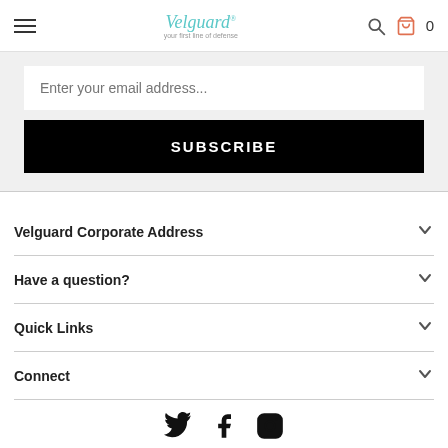Velguard (logo) | search icon | cart icon | 0
Enter your email address...
SUBSCRIBE
Velguard Corporate Address
Have a question?
Quick Links
Connect
[Figure (illustration): Twitter, Facebook, and Instagram social media icons displayed in a row]